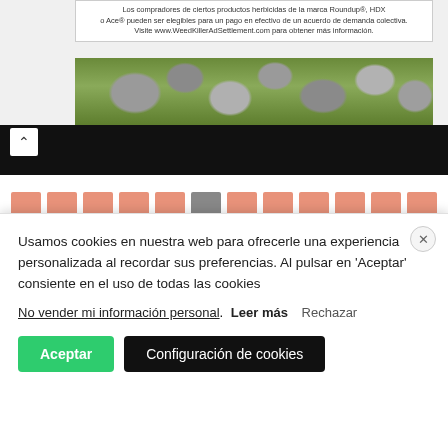[Figure (screenshot): Advertisement banner for WeedKillerAdSettlement.com with text in Spanish about Roundup herbicide class action settlement, with a background photo of stones and yellow flowers.]
[Figure (screenshot): Dark navigation bar with a back chevron arrow (^) on the left and a black bar content area.]
[Figure (screenshot): Pagination buttons numbered 1-16, with button 6 highlighted in gray and others in salmon/terracotta color.]
Usamos cookies en nuestra web para ofrecerle una experiencia personalizada al recordar sus preferencias. Al pulsar en 'Aceptar' consiente en el uso de todas las cookies
No vender mi información personal. Leer más Rechazar
Aceptar   Configuración de cookies